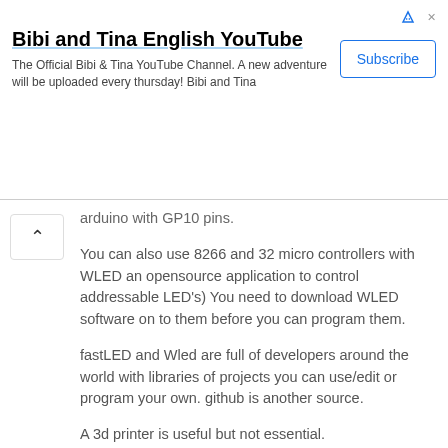[Figure (other): YouTube advertisement banner for 'Bibi and Tina English YouTube' channel with Subscribe button]
arduino with GP10 pins.
You can also use 8266 and 32 micro controllers with WLED an opensource application to control addressable LED's) You need to download WLED software on to them before you can program them.
fastLED and Wled are full of developers around the world with libraries of projects you can use/edit or program your own. github is another source.
A 3d printer is useful but not essential.
The easiest controller/s are the SP family such as the SP105E, SP107E Bluetooth controller or SP108E WIFI controller.  These don't need programming other than telling the app what type and how many LED's you have. They also aren't advanced but can do many things the other controllers can do.
Happy reading @joss 🙂